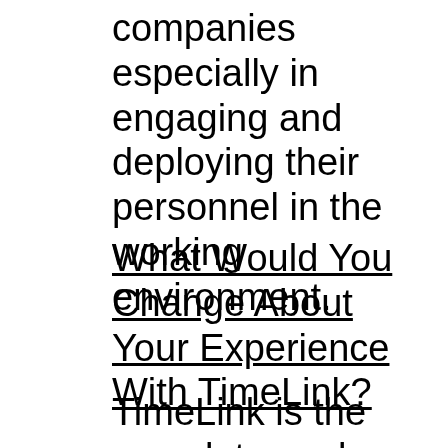companies especially in engaging and deploying their personnel in the working environment.
What Would You Change About Your Experience With TimeLink?
TimeLink is the complete package that